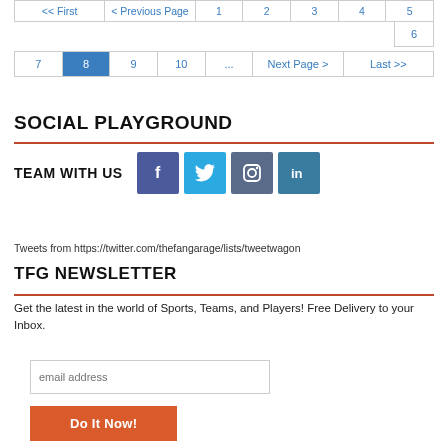<< First  < Previous Page  1  2  3  4  5  6  7  8  9  10  ...  Next Page >  Last >>
SOCIAL PLAYGROUND
TEAM WITH US
[Figure (illustration): Social media icons: Facebook, Twitter, Instagram, LinkedIn]
Tweets from https://twitter.com/thefangarage/lists/tweetwagon
TFG NEWSLETTER
Get the latest in the world of Sports, Teams, and Players! Free Delivery to your Inbox.
email address
Do It Now!